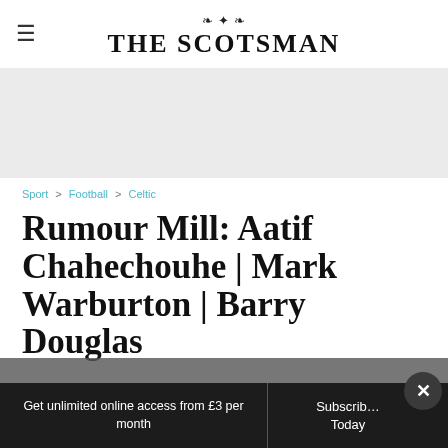THE SCOTSMAN
[Figure (other): Gray advertisement banner area]
Sport > Football > Celtic
Rumour Mill: Aatif Chahechouhe | Mark Warburton | Barry Douglas
Get unlimited online access from £3 per month  Subscribe Today